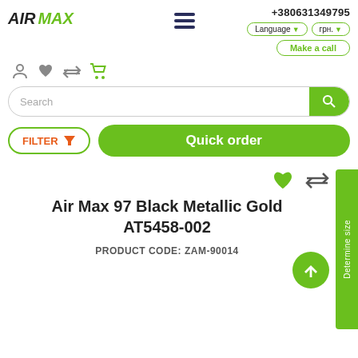[Figure (logo): AIR MAX logo with AIR in black italic bold and MAX in green italic bold]
+380631349795
Language ▼
грн. ▼
Make a call
Search
FILTER
Quick order
Determine size
Air Max 97 Black Metallic Gold AT5458-002
PRODUCT CODE: ZAM-90014